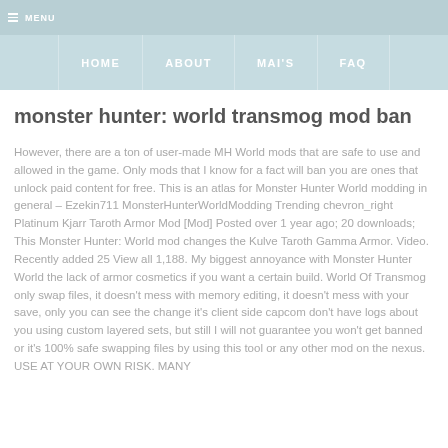MENU
HOME | ABOUT | MAI'S | FAQ
monster hunter: world transmog mod ban
However, there are a ton of user-made MH World mods that are safe to use and allowed in the game. Only mods that I know for a fact will ban you are ones that unlock paid content for free. This is an atlas for Monster Hunter World modding in general – Ezekin711 MonsterHunterWorldModding Trending chevron_right Platinum Kjarr Taroth Armor Mod [Mod] Posted over 1 year ago; 20 downloads; This Monster Hunter: World mod changes the Kulve Taroth Gamma Armor. Video. Recently added 25 View all 1,188. My biggest annoyance with Monster Hunter World the lack of armor cosmetics if you want a certain build. World Of Transmog only swap files, it doesn't mess with memory editing, it doesn't mess with your save, only you can see the change it's client side capcom don't have logs about you using custom layered sets, but still I will not guarantee you won't get banned or it's 100% safe swapping files by using this tool or any other mod on the nexus. USE AT YOUR OWN RISK. MANY